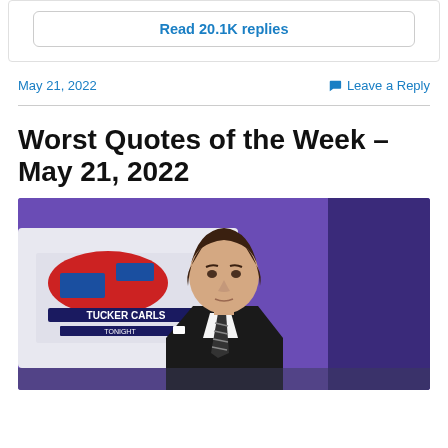Read 20.1K replies
May 21, 2022
Leave a Reply
Worst Quotes of the Week – May 21, 2022
[Figure (photo): Photo of Tucker Carlson standing in front of a 'Tucker Carlson' TV show backdrop with a purple/blue background, wearing a dark suit and striped tie]